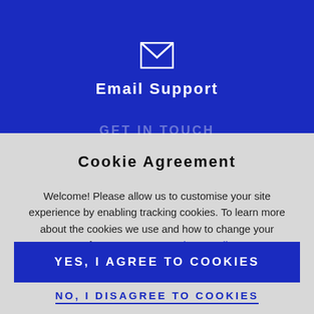[Figure (illustration): Email envelope icon in white on blue background]
Email Support
GET IN TOUCH
Cookie Agreement
Welcome! Please allow us to customise your site experience by enabling tracking cookies. To learn more about the cookies we use and how to change your preferences, see our Privacy Policy.
YES, I AGREE TO COOKIES
NO, I DISAGREE TO COOKIES